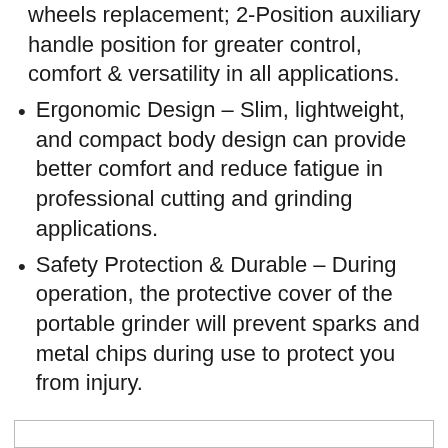wheels replacement; 2-Position auxiliary handle position for greater control, comfort & versatility in all applications.
Ergonomic Design – Slim, lightweight, and compact body design can provide better comfort and reduce fatigue in professional cutting and grinding applications.
Safety Protection & Durable – During operation, the protective cover of the portable grinder will prevent sparks and metal chips during use to protect you from injury.
Additional Info: